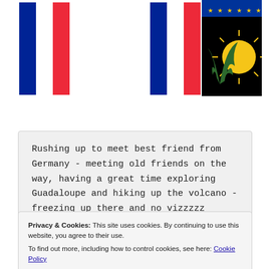[Figure (illustration): Three flags side by side: French flag (blue-white-red), a second French flag, and the flag of Guadeloupe (black with yellow sun and green plant on left, EU stars on top right)]
Rushing up to meet best friend from Germany - meeting old friends on the way, having a great time exploring Guadaloupe and hiking up the volcano - freezing up there and no vizzzzz
Privacy & Cookies: This site uses cookies. By continuing to use this website, you agree to their use.
To find out more, including how to control cookies, see here: Cookie Policy
Close and accept